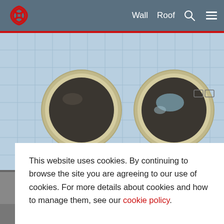[Figure (screenshot): Website screenshot showing a navigation bar with a red Celtic-style logo on the left and 'Wall', 'Roof', search icon, and hamburger menu on the right over a blue-grey background. Below is a photo of a building facade with light blue tiles and two large circular porthole windows.]
This website uses cookies. By continuing to browse the site you are agreeing to our use of cookies. For more details about cookies and how to manage them, see our cookie policy.
Continue